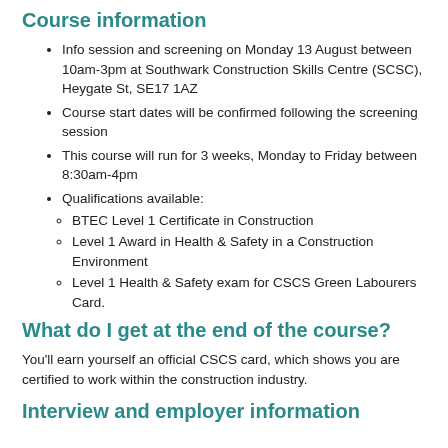Course information
Info session and screening on Monday 13 August between 10am-3pm at Southwark Construction Skills Centre (SCSC), Heygate St, SE17 1AZ
Course start dates will be confirmed following the screening session
This course will run for 3 weeks, Monday to Friday between 8:30am-4pm
Qualifications available:
BTEC Level 1 Certificate in Construction
Level 1 Award in Health & Safety in a Construction Environment
Level 1 Health & Safety exam for CSCS Green Labourers Card.
What do I get at the end of the course?
You'll earn yourself an official CSCS card, which shows you are certified to work within the construction industry.
Interview and employer information